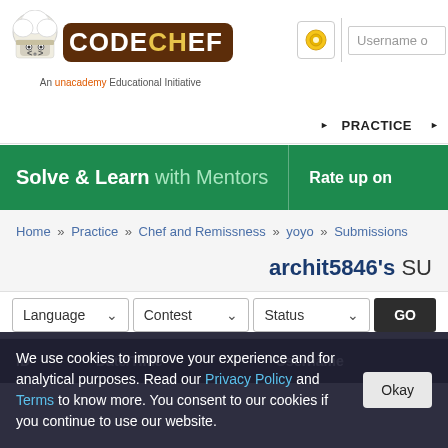[Figure (logo): CodeChef logo with chef hat icon and brown rounded rectangle background with text CODECHEF. Tagline: An unacademy Educational Initiative]
Username o | (coin icon) | PRACTICE ► C
Solve & Learn with Mentors | Rate up on
Home » Practice » Chef and Remissness » yoyo » Submissions
archit5846's SU
Language ▾  Contest ▾  Status ▾  GO
| ID | Date/Time | Username |
| --- | --- | --- |
We use cookies to improve your experience and for analytical purposes. Read our Privacy Policy and Terms to know more. You consent to our cookies if you continue to use our website.